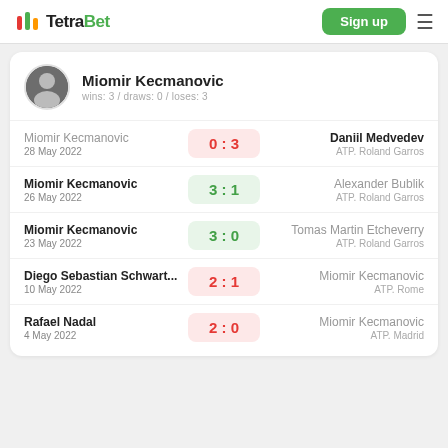TetraBet | Sign up
Miomir Kecmanovic
wins: 3 / draws: 0 / loses: 3
| Player 1 | Score | Player 2 | Date | Tournament |
| --- | --- | --- | --- | --- |
| Miomir Kecmanovic | 0:3 | Daniil Medvedev | 28 May 2022 | ATP. Roland Garros |
| Miomir Kecmanovic | 3:1 | Alexander Bublik | 26 May 2022 | ATP. Roland Garros |
| Miomir Kecmanovic | 3:0 | Tomas Martin Etcheverry | 23 May 2022 | ATP. Roland Garros |
| Diego Sebastian Schwart... | 2:1 | Miomir Kecmanovic | 10 May 2022 | ATP. Rome |
| Rafael Nadal | 2:0 | Miomir Kecmanovic | 4 May 2022 | ATP. Madrid |